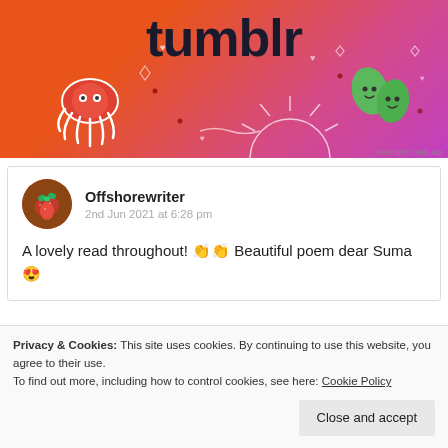[Figure (illustration): Tumblr advertisement banner with orange-to-pink gradient background, 'tumblr' text logo, decorative cartoon squid, sun rays, and leaf characters]
Offshorewriter
2nd Jun 2021 at 6:28 pm
A lovely read throughout! 👏👏 Beautiful poem dear Suma 😍
Privacy & Cookies: This site uses cookies. By continuing to use this website, you agree to their use.
To find out more, including how to control cookies, see here: Cookie Policy
Close and accept